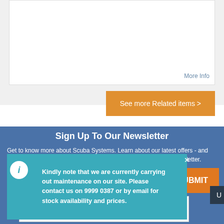[Figure (screenshot): White card area with 'More Info' link in blue-gray text at bottom right]
More Info
See more Related items >
Sign Up To Our Newsletter
Get to know more about Scuba Systems. Learn about our latest offers - and find out how you can get the best from us by signing up to our newsletter.
Kindly note that we are currently carrying out maintenance on our site. Please contact us on 9999 0387 or by email for stock availability and prices.
SUBMIT
I'm not a robot
reCAPTCHA